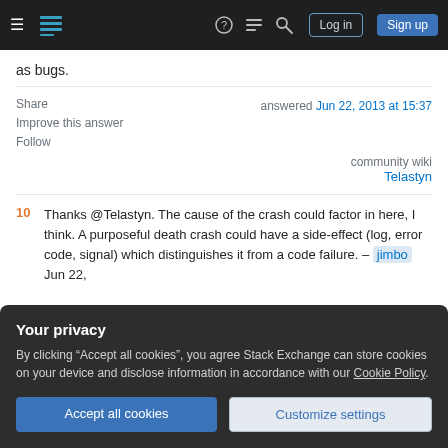Navigation bar with logo, icons, Log in and Sign up buttons
as bugs.
Share   Improve this answer   Follow   answered Jun 22, 2013 at 15:37
community wiki
Telastyn
10  Thanks @Telastyn. The cause of the crash could factor in here, I think. A purposeful death crash could have a side-effect (log, error code, signal) which distinguishes it from a code failure. – jimbo  Jun 22,
Your privacy
By clicking "Accept all cookies", you agree Stack Exchange can store cookies on your device and disclose information in accordance with our Cookie Policy.
Accept all cookies   Customize settings
risk systems. – JustinC  Jun 22, 2013 at 23:24